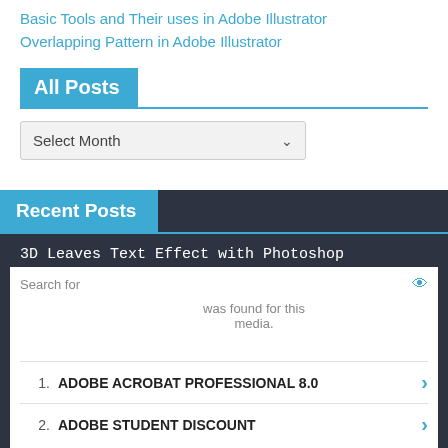Basic Tools and Their uses in Adobe Illustrator
Overlapping Pattern in Adobe Illustrator
All Posts
Select Month
Recent Posts
3D Leaves Text Effect with Photoshop
Search for
1. ADOBE ACROBAT PROFESSIONAL 8.0
2. ADOBE STUDENT DISCOUNT